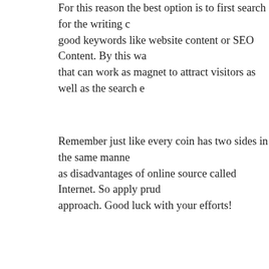For this reason the best option is to first search for the writing company with good keywords like website content or SEO Content. By this way you will be able that can work as magnet to attract visitors as well as the search e
Remember just like every coin has two sides in the same manner there are advantages as disadvantages of online source called Internet. So apply prudent approach. Good luck with your efforts!
Posted in Uncategorized | Comments Off
6 Benefits of SEO That You Might Not Be
SEO Helps in Establishing Brand Awareness
The term brand awareness is the level of brand recognition a target audience are familiar customers are with the products/services of a brand. One of the best ways marketing a product/service is by building brand awareness.
SEO ensures that products/services are found easily for a bla